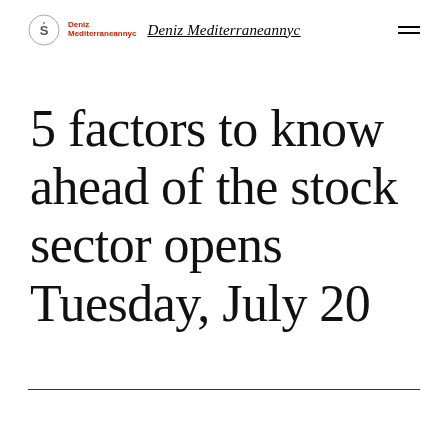Deniz Mediterraneannyc
5 factors to know ahead of the stock sector opens Tuesday, July 20